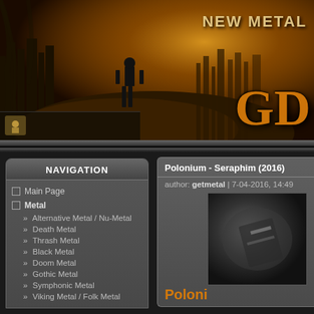[Figure (illustration): Metal music website banner with apocalyptic scene: figure standing on ruins overlooking a destroyed city with orange/amber sky. Text 'NEW METAL' and stylized logo partially visible on right side.]
NAVIGATION
Main Page
Metal
» Alternative Metal / Nu-Metal
» Death Metal
» Thrash Metal
» Black Metal
» Doom Metal
» Gothic Metal
» Symphonic Metal
» Viking Metal / Folk Metal
Polonium - Seraphim (2016)
author: getmetal | 7-04-2016, 14:49
Poloni
[Figure (photo): Album cover photo, dark monochrome image]